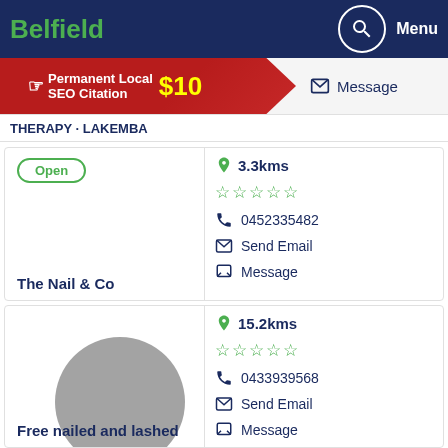Belfield
[Figure (infographic): Permanent Local SEO Citation $10 advertisement banner with red ribbon and message icon]
THERAPY · LAKEMBA - Message
Open · 3.3kms · 5 stars · 0452335482 · Send Email · Message
The Nail & Co
15.2kms · 5 stars · 0433939568 · Send Email · Message
Free nailed and lashed